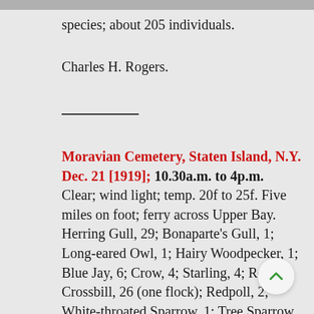species; about 205 individuals.
Charles H. Rogers.
Moravian Cemetery, Staten Island, N.Y. Dec. 21 [1919]; 10.30a.m. to 4p.m.
Clear; wind light; temp. 20f to 25f. Five miles on foot; ferry across Upper Bay. Herring Gull, 29; Bonaparte's Gull, 1; Long-eared Owl, 1; Hairy Woodpecker, 1; Blue Jay, 6; Crow, 4; Starling, 4; Red Crossbill, 26 (one flock); Redpoll, 2; White-throated Sparrow, 1; Tree Sparrow, 16; Junco, 1;White-breasted Nuthatch, 1; Tufted Titmouse, 1; Black-